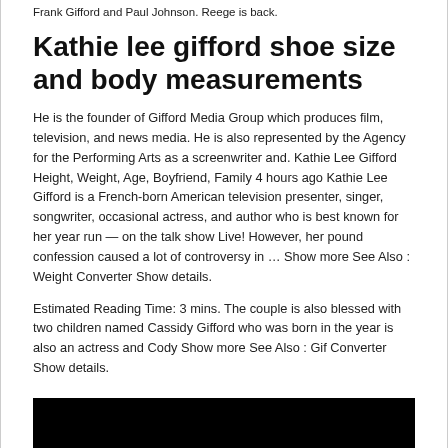Frank Gifford and Paul Johnson. Reege is back.
Kathie lee gifford shoe size and body measurements
He is the founder of Gifford Media Group which produces film, television, and news media. He is also represented by the Agency for the Performing Arts as a screenwriter and. Kathie Lee Gifford Height, Weight, Age, Boyfriend, Family 4 hours ago Kathie Lee Gifford is a French-born American television presenter, singer, songwriter, occasional actress, and author who is best known for her year run — on the talk show Live! However, her pound confession caused a lot of controversy in … Show more See Also : Weight Converter Show details.
Estimated Reading Time: 3 mins. The couple is also blessed with two children named Cassidy Gifford who was born in the year is also an actress and Cody Show more See Also : Gif Converter Show details.
[Figure (other): Black rectangular area (video or image placeholder)]